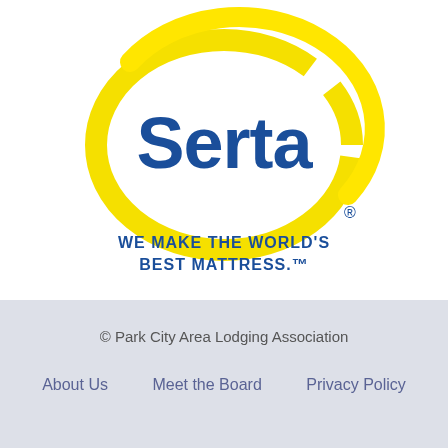[Figure (logo): Serta logo: a yellow oval/ellipse arc surrounding the word 'Serta' in bold blue serif-style font, with a registered trademark symbol. Below the logo oval, text reads 'WE MAKE THE WORLD'S BEST MATTRESS.™' in blue small-caps style font.]
© Park City Area Lodging Association
About Us    Meet the Board    Privacy Policy